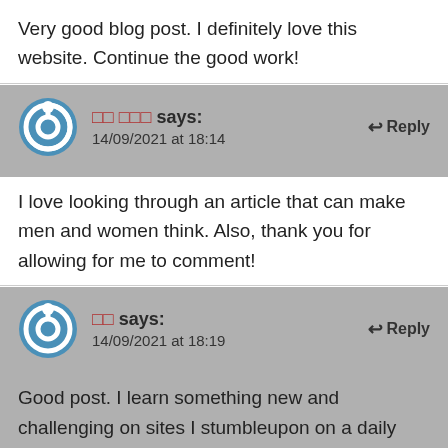Very good blog post. I definitely love this website. Continue the good work!
□□ □□□ says:
14/09/2021 at 18:14
I love looking through an article that can make men and women think. Also, thank you for allowing for me to comment!
□□ says:
14/09/2021 at 18:19
Good post. I learn something new and challenging on sites I stumbleupon on a daily basis. It will always be interesting to read content from other writers and practice a little